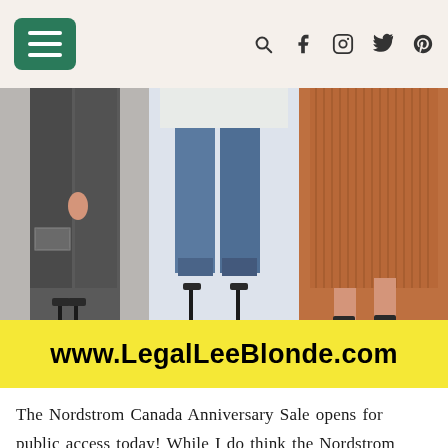Navigation header with hamburger menu and social icons (search, facebook, instagram, twitter, pinterest)
[Figure (photo): Three women's lower bodies showing fashion outfits: left - dark distressed jeans with dark heels, center - cropped blue jeans with dark heels, right - rust/brown ribbed skirt with dark heels]
www.LegalLeeBlonde.com
The Nordstrom Canada Anniversary Sale opens for public access today! While I do think the Nordstrom Anniversary Sale can be over hyped (See my post on what NOT to buy from the NSale), there are always a few really good pieces that are a great price. I wanted to share with you all my top picks from the Nordstrom Canada anniversary sale i